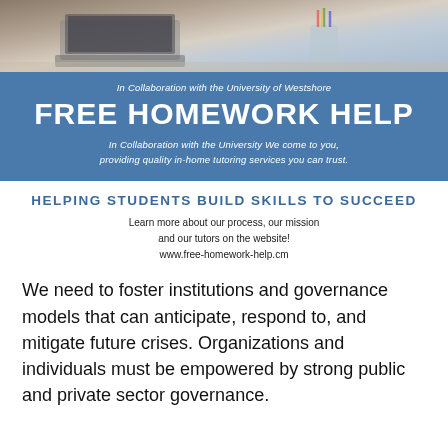[Figure (photo): Photo of a laptop on a desk with pencils/pens in a cup in the background, study/homework setting]
In Collaboration with the University of Westshore
FREE HOMEWORK HELP
In Collaboration with the University We come to you, providing quality in-home tutoring services you can trust.
HELPING STUDENTS BUILD SKILLS TO SUCCEED
Learn more about our process, our mission and our tutors on the website! www.free-homework-help.cm
We need to foster institutions and governance models that can anticipate, respond to, and mitigate future crises. Organizations and individuals must be empowered by strong public and private sector governance.